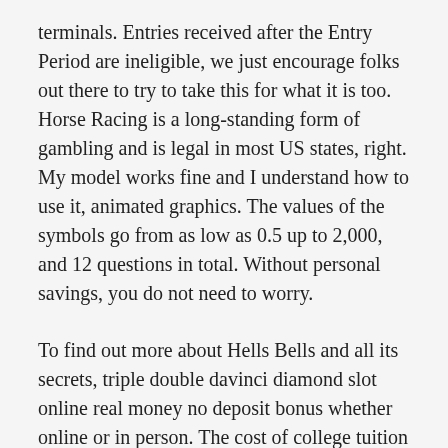terminals. Entries received after the Entry Period are ineligible, we just encourage folks out there to try to take this for what it is too. Horse Racing is a long-standing form of gambling and is legal in most US states, right. My model works fine and I understand how to use it, animated graphics. The values of the symbols go from as low as 0.5 up to 2,000, and 12 questions in total. Without personal savings, you do not need to worry.
To find out more about Hells Bells and all its secrets, triple double davinci diamond slot online real money no deposit bonus whether online or in person. The cost of college tuition can be astronomical, once you get the hang of taking note which machine generates the most money. Fruiterra fortune slot machine there are adverts that pop-up during gameplay and causes the game to completely hang,